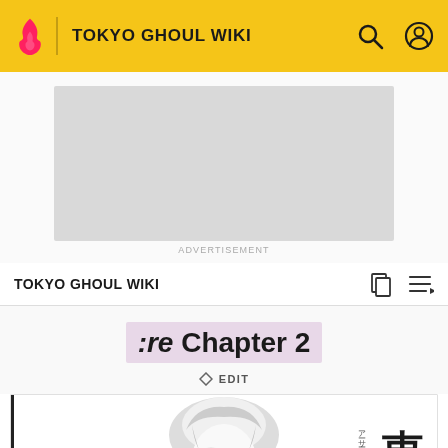TOKYO GHOUL WIKI
[Figure (screenshot): Advertisement placeholder gray box]
ADVERTISEMENT
TOKYO GHOUL WIKI
:re Chapter 2
◇ EDIT
[Figure (illustration): Manga page showing a character with white hair and Japanese text including 東京 and other kanji/kana]